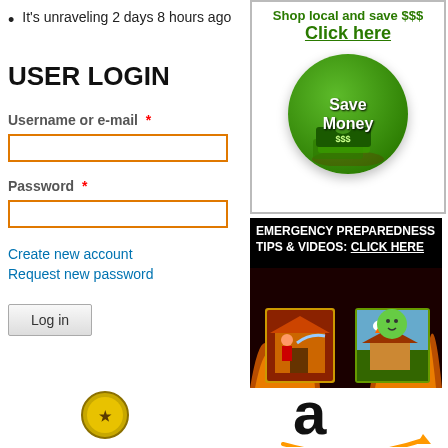It's unraveling 2 days 8 hours ago
USER LOGIN
Username or e-mail *
Password *
Create new account
Request new password
Log in
[Figure (infographic): Shop local and save $$$ advertisement with green circle and money bills, Click here button]
[Figure (infographic): Emergency Preparedness Tips & Videos: Click Here banner with fire and cartoon images]
[Figure (logo): Amazon logo with lowercase 'a' and arrow smile]
[Figure (illustration): Small circular icon bottom left]